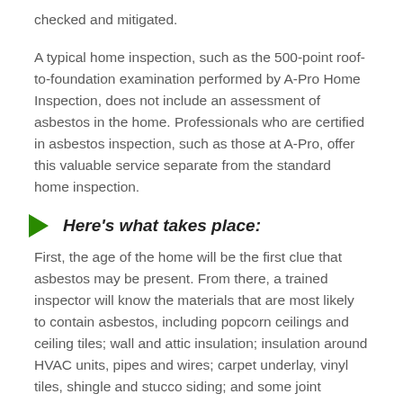checked and mitigated.
A typical home inspection, such as the 500-point roof-to-foundation examination performed by A-Pro Home Inspection, does not include an assessment of asbestos in the home. Professionals who are certified in asbestos inspection, such as those at A-Pro, offer this valuable service separate from the standard home inspection.
Here’s what takes place:
First, the age of the home will be the first clue that asbestos may be present. From there, a trained inspector will know the materials that are most likely to contain asbestos, including popcorn ceilings and ceiling tiles; wall and attic insulation; insulation around HVAC units, pipes and wires; carpet underlay, vinyl tiles, shingle and stucco siding; and some joint